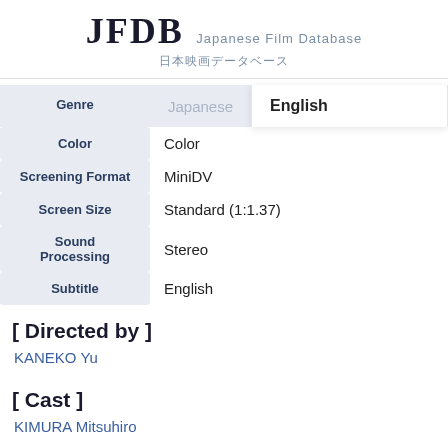JFDB Japanese Film Database 日本映画データベース
| Field | Value |
| --- | --- |
| Genre | Japanese | English |
| Color | Color |
| Screening Format | MiniDV |
| Screen Size | Standard (1:1.37) |
| Sound Processing | Stereo |
| Subtitle | English |
[ Directed by ]
KANEKO Yu
[ Cast ]
KIMURA Mitsuhiro